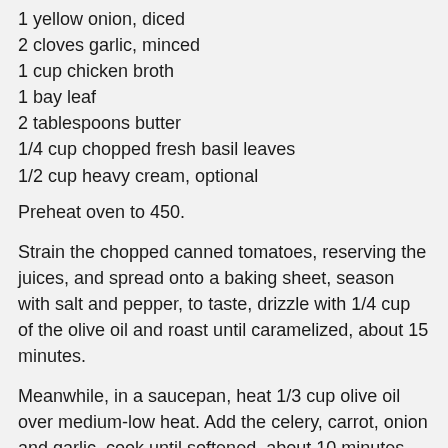1 yellow onion, diced
2 cloves garlic, minced
1 cup chicken broth
1 bay leaf
2 tablespoons butter
1/4 cup chopped fresh basil leaves
1/2 cup heavy cream, optional
Preheat oven to 450.
Strain the chopped canned tomatoes, reserving the juices, and spread onto a baking sheet, season with salt and pepper, to taste, drizzle with 1/4 cup of the olive oil and roast until caramelized, about 15 minutes.
Meanwhile, in a saucepan, heat 1/3 cup olive oil over medium-low heat. Add the celery, carrot, onion and garlic, cook until softened, about 10 minutes. Add the roasted chopped canned tomatoes, reserved tomato juices, chicken broth, bay leaf and butter. Simmer until vegetables are very tender, about 15 to 20 minutes.  Remove the bay leaf, and add basil and cream, if using. Puree with a hand held